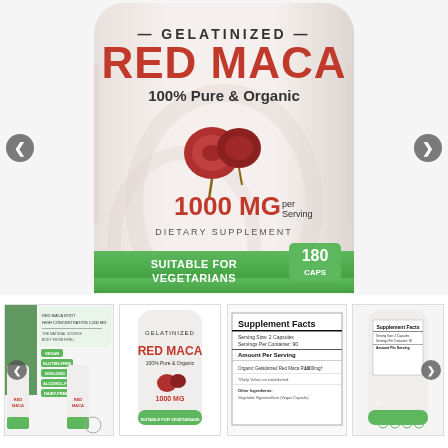[Figure (photo): Product shot of Gelatinized Red Maca 100% Pure & Organic supplement bottle. Label shows: GELATINIZED RED MACA, 100% Pure & Organic, 1000 MG per Serving, DIETARY SUPPLEMENT, 180 CAPS, SUITABLE FOR VEGETARIANS. Navigation arrows (prev/next) on left and right sides.]
[Figure (photo): Thumbnail 1: Two Red Maca supplement bottles with marketing infographic showing vegan, gluten-free, non-GMO, alcohol-free, dairy-free badges and text about Red Maca Root high concentration 1,000mg.]
[Figure (photo): Thumbnail 2: Front of Gelatinized Red Maca 100% Pure & Organic bottle, 1000mg.]
[Figure (photo): Thumbnail 3: Supplement Facts panel. Serving Size: 2 Capsules, Servings Per Container: 90. Amount Per Serving: Organic Gelatinized Red Maca Root 1000mg. Daily Value not established. Other Ingredients: Vegetable Hypromellose (Vegan Capsule).]
[Figure (photo): Thumbnail 4: Side/back of supplement bottle showing Supplement Facts label and certification badges.]